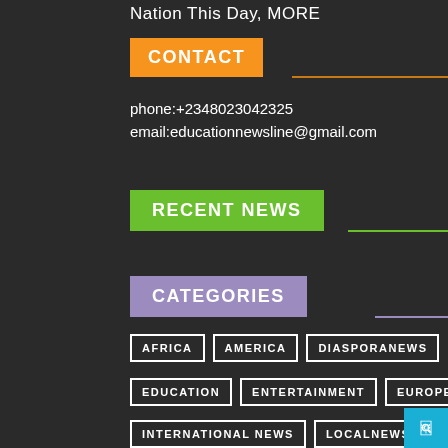Nation This Day, MORE
CONTACT
phone:+2348023042325
email:educationnewsline@gmail.com
RECENT NEWS
CATEGORIES
AFRICA
AMERICA
DIASPORANEWS
EDUCATION
ENTERTAINMENT
EUROPE
INTERNATIONAL NEWS
LOCALNEWS